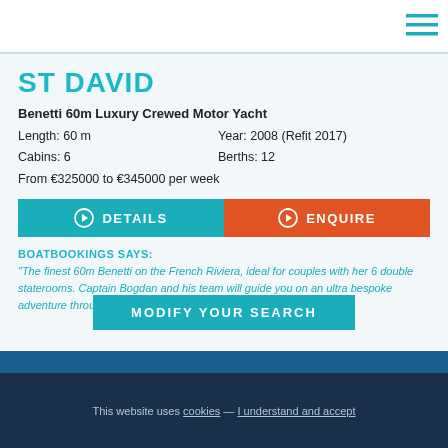ST DAVID
Benetti 60m Luxury Crewed Motor Yacht
Length: 60 m   Year: 2008 (Refit 2017)
Cabins: 6   Berths: 12
From €325000 to €345000 per week
DETAILS
ENQUIRE
BOATBOOKINGS SAYS:
"The finest 60m Benetti on the French Riviera, ideal for couples with her 6 double staterooms. Captain Bogdan and his team will guide you on an ultra bespoke adventure through Cannes, Monaco and St Tropez."
MODIFY YOUR SEARCH
This website uses cookies — I understand and accept